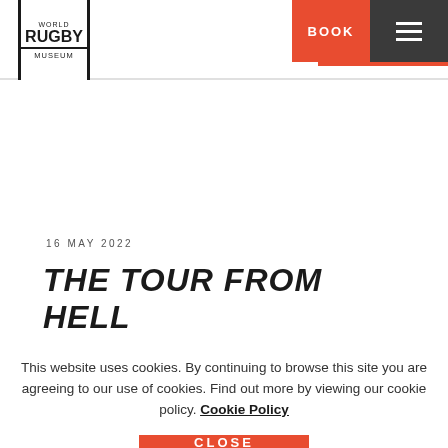[Figure (logo): World Rugby Museum logo with vertical bars on either side]
BOOK
16 MAY 2022
THE TOUR FROM HELL
This website uses cookies. By continuing to browse this site you are agreeing to our use of cookies. Find out more by viewing our cookie policy. Cookie Policy
CLOSE